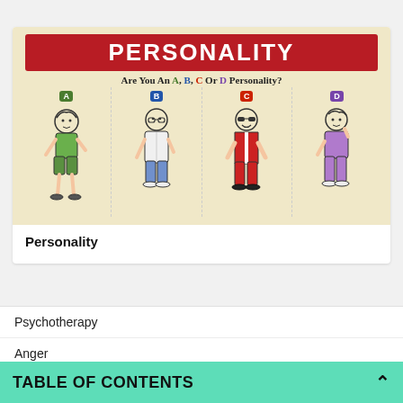[Figure (infographic): Personality infographic titled PERSONALITY showing four character types A, B, C, D with cartoon figures representing each personality type. Subtitle reads: Are You An A, B, C Or D Personality?]
Personality
Psychotherapy
Anger
Stockholm Syndrome
TABLE OF CONTENTS